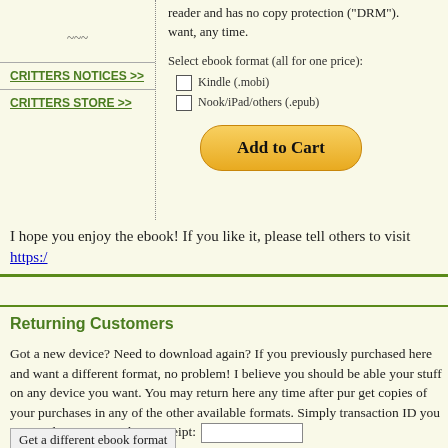~~~
CRITTERS NOTICES >>
CRITTERS STORE >>
reader and has no copy protection ("DRM"). want, any time.
Select ebook format (all for one price):
Kindle (.mobi)
Nook/iPad/others (.epub)
Add to Cart
I hope you enjoy the ebook! If you like it, please tell others to visit https:/
Returning Customers
Got a new device? Need to download again? If you previously purchased here and want a different format, no problem! I believe you should be able your stuff on any device you want. You may return here any time after pur get copies of your purchases in any of the other available formats. Simply transaction ID you received on your purchase receipt:
Get a different ebook format